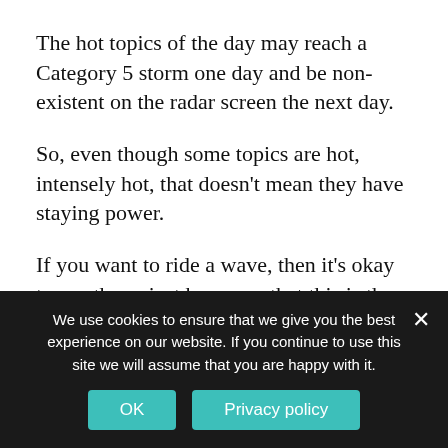The hot topics of the day may reach a Category 5 storm one day and be non-existent on the radar screen the next day.
So, even though some topics are hot, intensely hot, that doesn't mean they have staying power.
If you want to ride a wave, then it's okay to use them, just be aware that this is the case.
Here a few more factors to consider as you research your niche to decide if it is going to be a good one to
We use cookies to ensure that we give you the best experience on our website. If you continue to use this site we will assume that you are happy with it.